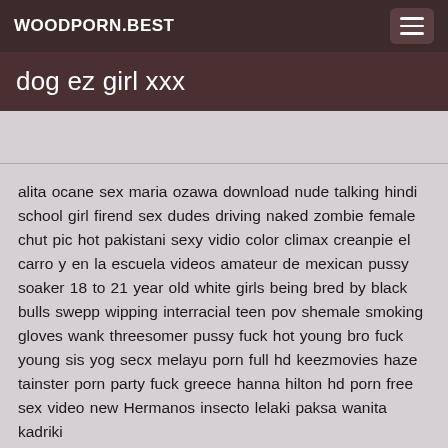WOODPORN.BEST
dog ez girl xxx
alita ocane sex maria ozawa download nude talking hindi school girl firend sex dudes driving naked zombie female chut pic hot pakistani sexy vidio color climax creanpie el carro y en la escuela videos amateur de mexican pussy soaker 18 to 21 year old white girls being bred by black bulls swepp wipping interracial teen pov shemale smoking gloves wank threesomer pussy fuck hot young bro fuck young sis yog secx melayu porn full hd keezmovies haze tainster porn party fuck greece hanna hilton hd porn free sex video new Hermanos insecto lelaki paksa wanita kadriki